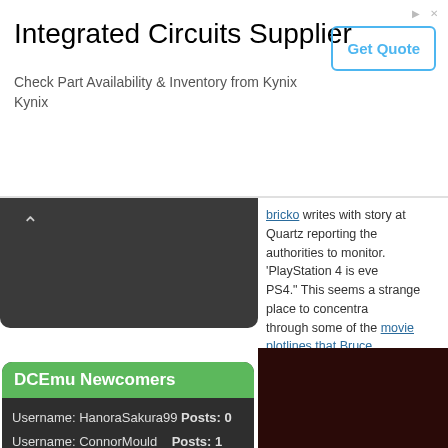[Figure (other): Advertisement banner for Integrated Circuits Supplier - Kynix]
Integrated Circuits Supplier
Check Part Availability & Inventory from Kynix
Kynix
[Figure (other): Dark tab/navigation element with up arrow]
DCEmu Newcomers
Username: HanoraSakura99  Posts: 0
Username: ConnorMould    Posts: 1
Username: Nuchita99       Posts: 2
Username: bahman00       Posts: 0
Username: adilsardar      Posts: 1
bricko writes with story at Quartz reporting the authorities to monitor. 'PlayStation 4 is eve PS4.' This seems a strange place to concentra through some of the movie plotlines that Bruce
http://tech.slashdot.org/story/15/11/...-playstatio
To read more of the post and Download, cli
Join In and Discuss Here
Submit News and Releases Here and Contact
Sony is adding PlayStation
November 23rd, 2015, 21:46 Posted By: wrag
[Figure (photo): Dark brown/black image area]